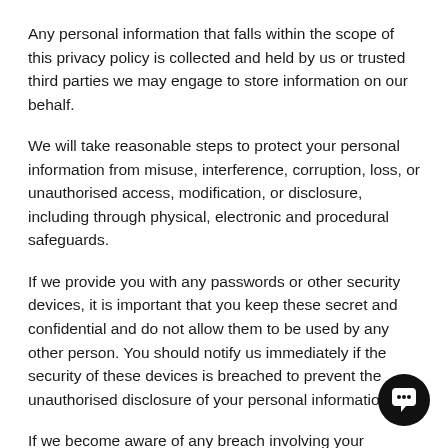Any personal information that falls within the scope of this privacy policy is collected and held by us or trusted third parties we may engage to store information on our behalf.
We will take reasonable steps to protect your personal information from misuse, interference, corruption, loss, or unauthorised access, modification, or disclosure, including through physical, electronic and procedural safeguards.
If we provide you with any passwords or other security devices, it is important that you keep these secret and confidential and do not allow them to be used by any other person. You should notify us immediately if the security of these devices is breached to prevent the unauthorised disclosure of your personal information.
If we become aware of any breach involving your personal information, including as notified by a breach...